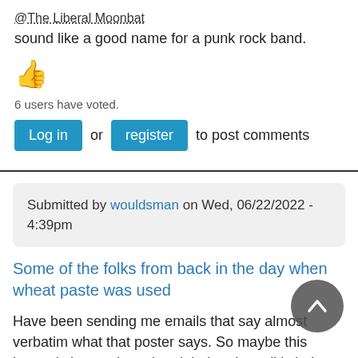@The Liberal Moonbat
sound like a good name for a punk rock band.
[Figure (illustration): Thumbs up emoji icon in orange/yellow color]
6 users have voted.
Log in or register to post comments
Submitted by wouldsman on Wed, 06/22/2022 - 4:39pm
Some of the folks from back in the day when wheat paste was used
Have been sending me emails that say almost verbatim what that poster says. So maybe this image is just a photoshop job, but the call is being put out. Preparing people to be ready to take to the